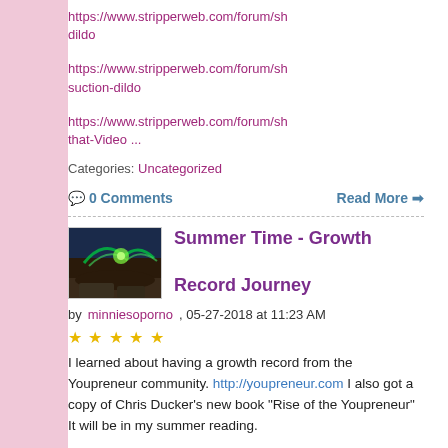https://www.stripperweb.com/forum/sh dildo
https://www.stripperweb.com/forum/sh suction-dildo
https://www.stripperweb.com/forum/sh that-Video ...
Categories: Uncategorized
💬 0 Comments
Read More ➡
[Figure (photo): Thumbnail image showing aurora borealis or green light over a landscape]
Summer Time - Growth Record Journey
by minniesoporno, 05-27-2018 at 11:23 AM ★★★★★
I learned about having a growth record from the Youpreneur community. http://youpreneur.com I also got a copy of Chris Ducker's new book "Rise of the Youpreneur" It will be in my summer reading.

So having a growth record is all about documenting progress, and moving through challenges that will keep you